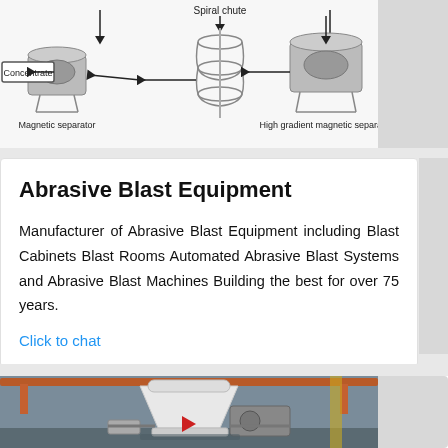[Figure (engineering-diagram): Diagram of mineral processing equipment: spiral chute, magnetic separator, high gradient magnetic separator, with arrows and 'Concentrate' label]
Abrasive Blast Equipment
Manufacturer of Abrasive Blast Equipment including Blast Cabinets Blast Rooms Automated Abrasive Blast Systems and Abrasive Blast Machines Building the best for over 75 years.
Click to chat
[Figure (photo): Photo of a large white industrial cone-shaped machine (likely a crusher or vertical mill) in a factory/warehouse setting with orange overhead cranes visible]